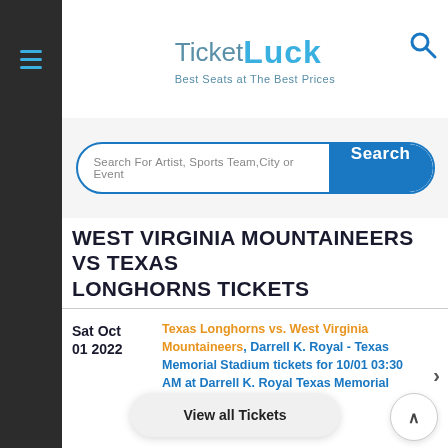[Figure (logo): TicketLuck logo with tagline 'Best Seats at The Best Prices']
Search For Artist, Sports Team,City or Event
WEST VIRGINIA MOUNTAINEERS VS TEXAS LONGHORNS TICKETS
Sat Oct 01 2022
Texas Longhorns vs. West Virginia Mountaineers, Darrell K. Royal - Texas Memorial Stadium tickets for 10/01 03:30 AM at Darrell K. Royal Texas Memorial Stadium,Austin, TX
View all Tickets
Sat Oct 01 2022
Texas Longhorns vs. West Virginia